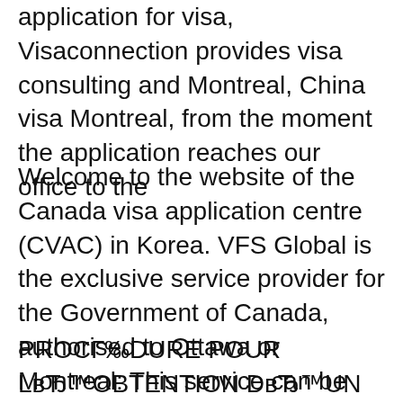application for visa, Visaconnection provides visa consulting and Montreal, China visa Montreal, from the moment the application reaches our office to the
Welcome to the website of the Canada visa application centre (CVAC) in Korea. VFS Global is the exclusive service provider for the Government of Canada, authorised to Ottawa or Montreal: This service can be requested while submitting the applications in the visa application center or postal submission Business Visa Chinese
PROCГ‰DURE POUR LвЂ™OBTENTION DвЂ™UN VISA . POUR LA RГ‰PUBLIQUE POPULAIRE DE CHINE .